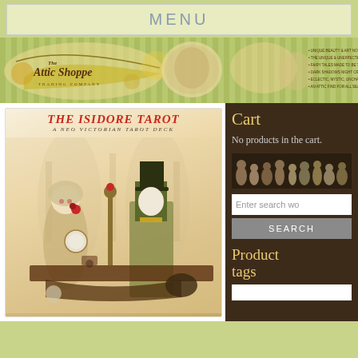MENU
[Figure (illustration): The Attic Shoppe Trading Company banner with Victorian ornamental design, logo, and taglines on striped background]
[Figure (illustration): The Isidore Tarot - A Neo Victorian Tarot Deck product card cover image showing Victorian-style characters at a table]
Cart
No products in the cart.
[Figure (illustration): Row of small Victorian figurine decorations]
Enter search words
SEARCH
Product tags